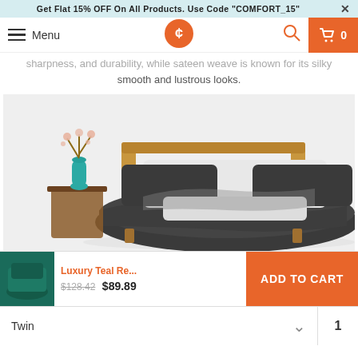Get Flat 15% OFF On All Products. Use Code "COMFORT_15" X
Menu [logo] [search] [cart 0]
sharpness, and durability, while sateen weave is known for its silky smooth and lustrous looks.
[Figure (photo): A bed with dark grey/charcoal duvet and white pillows, wooden headboard, and a teal vase with flowers on a bedside table.]
Luxury Teal Re... $128.42 $89.89 ADD TO CART
Twin 1